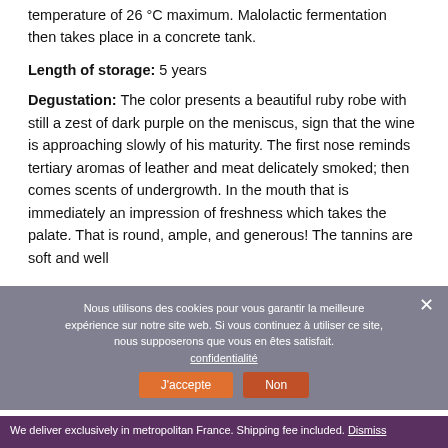temperature of 26 °C maximum. Malolactic fermentation then takes place in a concrete tank.
Length of storage: 5 years
Degustation: The color presents a beautiful ruby robe with still a zest of dark purple on the meniscus, sign that the wine is approaching slowly of his maturity. The first nose reminds tertiary aromas of leather and meat delicately smoked; then comes scents of undergrowth. In the mouth that is immediately an impression of freshness which takes the palate. That is round, ample, and generous! The tannins are soft and well
Nous utilisons des cookies pour vous garantir la meilleure expérience sur notre site web. Si vous continuez à utiliser ce site, nous supposerons que vous en êtes satisfait.
We deliver exclusively in metropolitan France. Shipping fee included. Dismiss